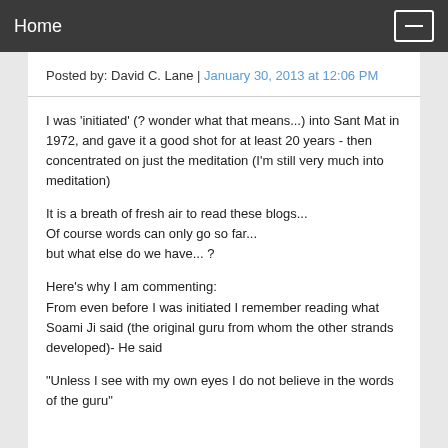Home
Posted by: David C. Lane | January 30, 2013 at 12:06 PM
I was 'initiated' (? wonder what that means...) into Sant Mat in 1972, and gave it a good shot for at least 20 years - then concentrated on just the meditation (I'm still very much into meditation)
It is a breath of fresh air to read these blogs...
Of course words can only go so far...
but what else do we have... ?
Here's why I am commenting:
From even before I was initiated I remember reading what Soami Ji said (the original guru from whom the other strands developed)- He said
"Unless I see with my own eyes I do not believe in the words of the guru"